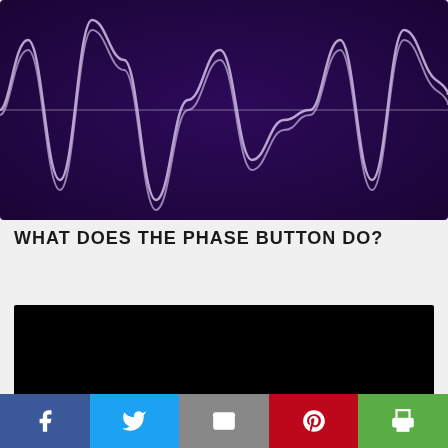[Figure (continuous-plot): Audio waveform visualization on dark purple background showing multiple oscillating sine-like waves (two overlapping signals) in white/lavender color on a deep purple/indigo background. A horizontal center line is visible.]
WHAT DOES THE PHASE BUTTON DO?
[Figure (screenshot): Video player showing mostly black screen with a partial view of equipment or mixer controls visible at the bottom right corner.]
Facebook | Twitter | Email | Pinterest | Print